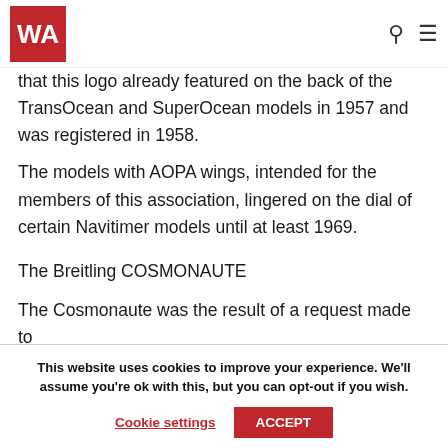WA
that this logo already featured on the back of the TransOcean and SuperOcean models in 1957 and was registered in 1958.
The models with AOPA wings, intended for the members of this association, lingered on the dial of certain Navitimer models until at least 1969.
The Breitling COSMONAUTE
The Cosmonaute was the result of a request made to
This website uses cookies to improve your experience. We'll assume you're ok with this, but you can opt-out if you wish.
Cookie settings    ACCEPT